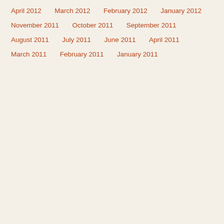April 2012
March 2012
February 2012
January 2012
November 2011
October 2011
September 2011
August 2011
July 2011
June 2011
April 2011
March 2011
February 2011
January 2011